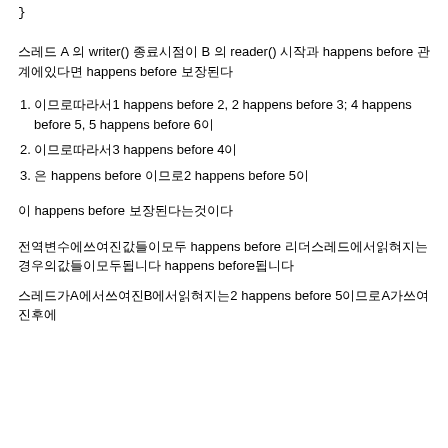}
스레드 A 의 writer() 종료시점이 B 의 reader() 시작과 happens before 관계에있다면 happens before 보장된다
1. 이므로따라서1 happens before 2, 2 happens before 3; 4 happens before 5, 5 happens before 6이
2. 이므로따라서3 happens before 4이
3. 은 happens before 이므로2 happens before 5이
이 happens before 보장된다는것이다
전역변수에쓰여진값들이모두 happens before 리더스레드에서읽혀지는경우의값들이모두됩니다 happens before됩니다
스레드가A에서쓰여진B에서읽혀지는2 happens before 5이므로A가쓰여진후에